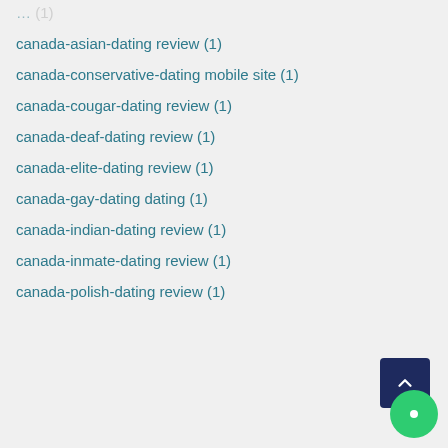canada-asian-dating review (1)
canada-conservative-dating mobile site (1)
canada-cougar-dating review (1)
canada-deaf-dating review (1)
canada-elite-dating review (1)
canada-gay-dating dating (1)
canada-indian-dating review (1)
canada-inmate-dating review (1)
canada-polish-dating review (1)